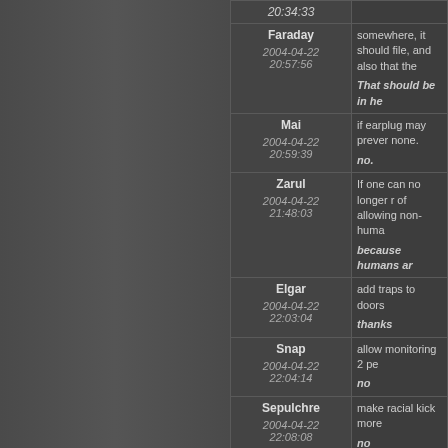| User/Date | Message |
| --- | --- |
| 20:34:33 |  |
| Faraday
2004-04-22 20:57:56 | somewhere, it should file, and also that the...
That should be in he |
| Mai
2004-04-22 20:59:39 | if earplug may prever none.
no. |
| Zarul
2004-04-22 21:48:03 | If one can no longer r of allowing non-huma...
because humans ar |
| Elgar
2004-04-22 22:03:04 | add traps to doors
thanks |
| Snap
2004-04-22 22:04:14 | allow monitoring 2 pe
no |
| Sepulchre
2004-04-22 22:08:08 | make racial kick more
no |
| Ares
2004-04-22 22:16:06 | Golden Bolts (hero ar aimed shot, or chang
thanks. It states tha |
| Ares
2004-04-22 | put sub lvl limits on q moonlight arcs, it che |